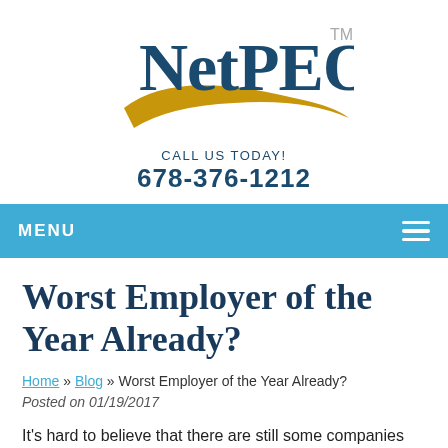[Figure (logo): NetPEO logo with gold swoosh/arc beneath the text and a TM superscript mark]
CALL US TODAY!
678-376-1212
MENU
Worst Employer of the Year Already?
Home » Blog » Worst Employer of the Year Already?
Posted on 01/19/2017
It's hard to believe that there are still some companies out there that don't seem to grasp the concept that treating